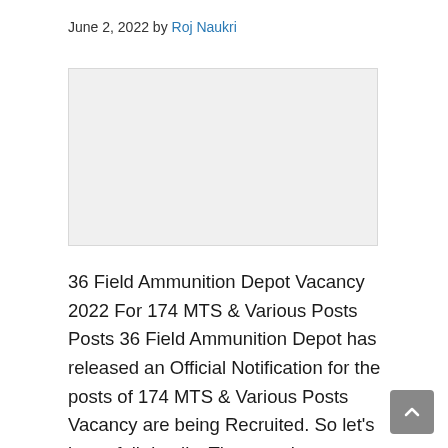June 2, 2022 by Roj Naukri
[Figure (other): Advertisement placeholder box (light gray rectangle)]
36 Field Ammunition Depot Vacancy 2022 For 174 MTS & Various Posts Posts 36 Field Ammunition Depot has released an Official Notification for the posts of 174 MTS & Various Posts Vacancy are being Recruited. So let's know full details. The complete information about the Recruitment in this